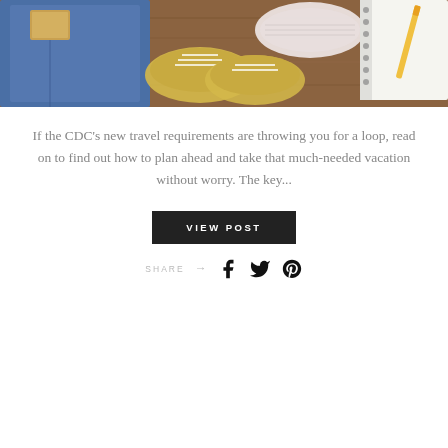[Figure (photo): Flat lay photo showing travel items: jeans, yellow sneakers, a face mask, and a spiral notebook with pencil on a wooden surface]
If the CDC's new travel requirements are throwing you for a loop, read on to find out how to plan ahead and take that much-needed vacation without worry. The key...
VIEW POST
SHARE → (Facebook, Twitter, Pinterest icons)